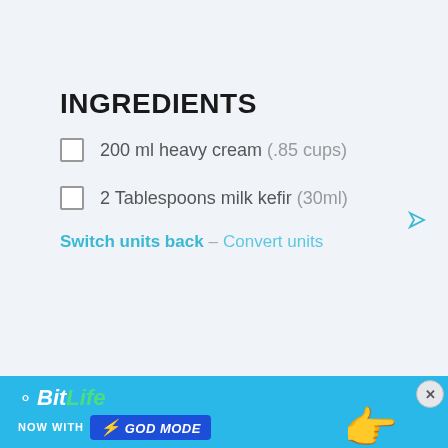INGREDIENTS
200 ml heavy cream (.85 cups)
2 Tablespoons milk kefir (30ml)
Switch units back – Convert units
[Figure (other): BitLife advertisement banner with 'NOW WITH GOD MODE' text and hand pointing graphic]